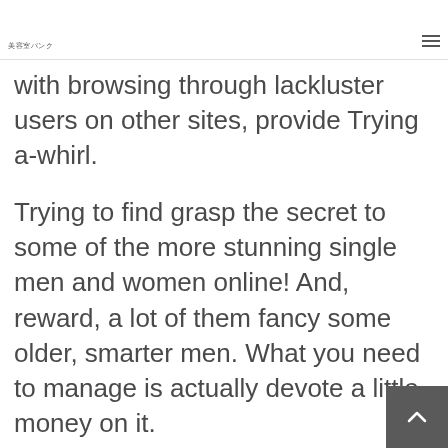美容室バンク
…p g… … … …y … with browsing through lackluster users on other sites, provide Trying a-whirl.
Trying to find grasp the secret to some of the more stunning single men and women online! And, reward, a lot of them fancy some older, smarter men. What you need to manage is actually devote a little money on it.
The web site enjoys a whole lot more f… … … … …% ith t … l …